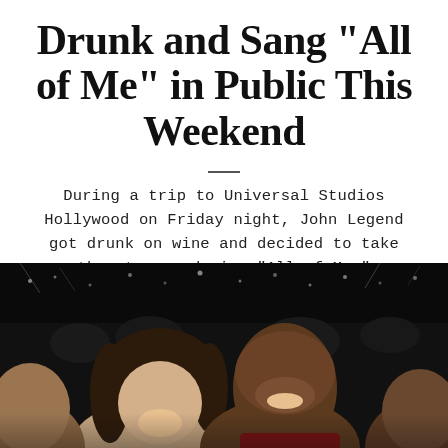Drunk and Sang "All of Me" in Public This Weekend
During a trip to Universal Studios Hollywood on Friday night, John Legend got drunk on wine and decided to take the stage and sing "All of Me."
[Figure (infographic): Social sharing icons row: Facebook (blue), Twitter (blue), WhatsApp (green), Pinterest (red), separator line, Email (black)]
[Figure (photo): Photo of John Legend and Chrissy Teigen laughing in a dark venue with arena lights in background. Crowd visible around them.]